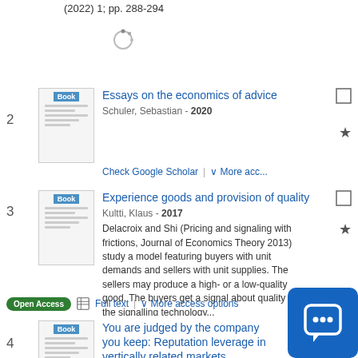(2022) 1; pp. 288-294
2 — Essays on the economics of advice
Schuler, Sebastian - 2020
Check Google Scholar | More acc...
3 — Experience goods and provision of quality
Kultti, Klaus - 2017
Delacroix and Shi (Pricing and signaling with frictions, Journal of Economics Theory 2013) study a model featuring buyers with unit demands and sellers with unit supplies. The sellers may produce a high- or a low-quality good. The buyers get a signal about quality but the signalling technology...
Open Access | Full text | More access options
4 — You are judged by the company you keep: Reputation leverage in vertically related markets
Choi, Jay Pil; Reitz, Martin - 2016